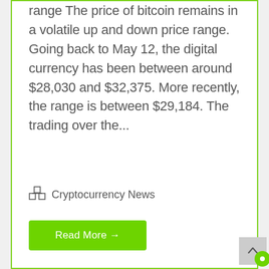range The price of bitcoin remains in a volatile up and down price range. Going back to May 12, the digital currency has been between around $28,030 and $32,375. More recently, the range is between $29,184. The trading over the...
Cryptocurrency News
Read More →